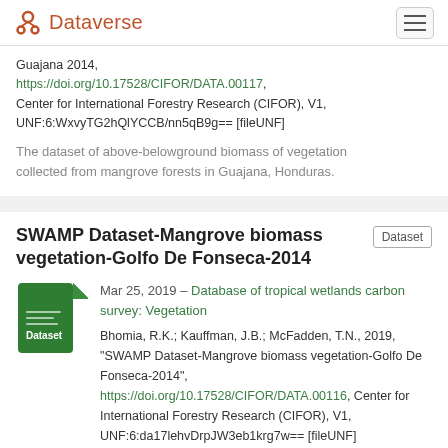Dataverse
Guajana 2014, https://doi.org/10.17528/CIFOR/DATA.00117, Center for International Forestry Research (CIFOR), V1, UNF:6:WxvyTG2hQlYCCB/nn5qB9g== [fileUNF]
The dataset of above-belowground biomass of vegetation collected from mangrove forests in Guajana, Honduras.
SWAMP Dataset-Mangrove biomass vegetation-Golfo De Fonseca-2014
Dataset
Mar 25, 2019 – Database of tropical wetlands carbon survey: Vegetation
Bhomia, R.K.; Kauffman, J.B.; McFadden, T.N., 2019, "SWAMP Dataset-Mangrove biomass vegetation-Golfo De Fonseca-2014", https://doi.org/10.17528/CIFOR/DATA.00116, Center for International Forestry Research (CIFOR), V1, UNF:6:da17lehvDrpJW3eb1krg7w== [fileUNF]
The dataset of above-belowground biomass of vegetation